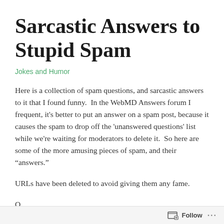Sarcastic Answers to Stupid Spam
Jokes and Humor
Here is a collection of spam questions, and sarcastic answers to it that I found funny.  In the WebMD Answers forum I frequent, it's better to put an answer on a spam post, because it causes the spam to drop off the 'unanswered questions' list while we're waiting for moderators to delete it.  So here are some of the more amusing pieces of spam, and their “answers.”
URLs have been deleted to avoid giving them any fame.
Q.
Follow ...